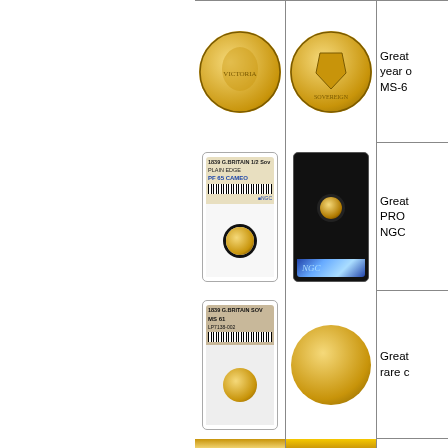[Figure (photo): Gold coin obverse - Victoria young head, large gold sovereign]
[Figure (photo): Gold coin reverse - shield design, large gold sovereign]
Great ... year ... MS-6...
[Figure (photo): NGC slab with 1839 G.BRITAIN 1/2 Sov Plain Edge PF 65 CAMEO label showing coin obverse]
[Figure (photo): NGC slab reverse showing coin and holographic security strip]
Great... PRO... NGC...
[Figure (photo): NGC slab with 1839 G.BRITAIN SOV MS 61 label showing coin obverse]
[Figure (photo): Gold coin reverse - Victorian shield sovereign]
Great... rare c...
[Figure (photo): Partial coin image at bottom]
[Figure (photo): Partial coin image at bottom]